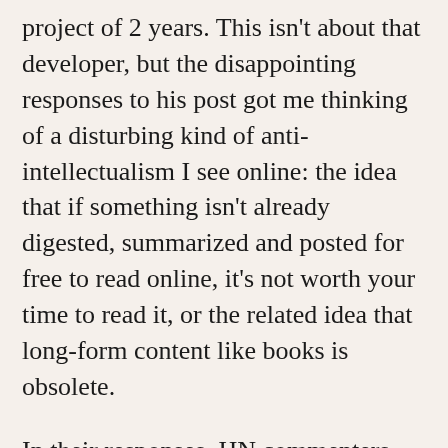project of 2 years. This isn't about that developer, but the disappointing responses to his post got me thinking of a disturbing kind of anti-intellectualism I see online: the idea that if something isn't already digested, summarized and posted for free to read online, it's not worth your time to read it, or the related idea that long-form content like books is obsolete.
In their responses, HN commenters suggested that the founder get a co-founder, who would help him stick out the startup with greater tenacity, or argued that he should “focus as much on marketing as on the technical